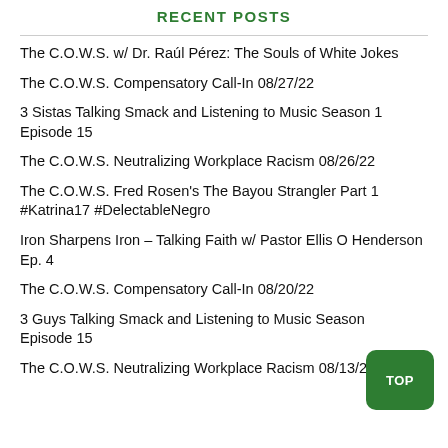RECENT POSTS
The C.O.W.S. w/ Dr. Raúl Pérez: The Souls of White Jokes
The C.O.W.S. Compensatory Call-In 08/27/22
3 Sistas Talking Smack and Listening to Music Season 1 Episode 15
The C.O.W.S. Neutralizing Workplace Racism 08/26/22
The C.O.W.S. Fred Rosen's The Bayou Strangler Part 1 #Katrina17 #DelectableNegro
Iron Sharpens Iron – Talking Faith w/ Pastor Ellis O Henderson Ep. 4
The C.O.W.S. Compensatory Call-In 08/20/22
3 Guys Talking Smack and Listening to Music Season Episode 15
The C.O.W.S. Neutralizing Workplace Racism 08/13/22